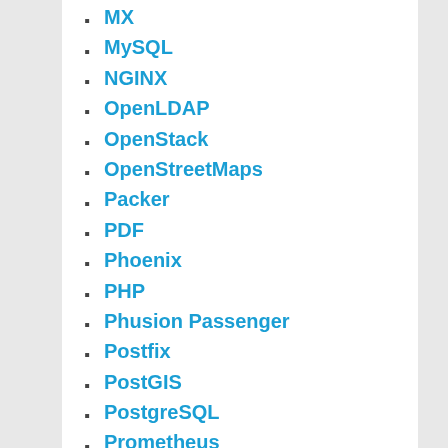MX
MySQL
NGINX
OpenLDAP
OpenStack
OpenStreetMaps
Packer
PDF
Phoenix
PHP
Phusion Passenger
Postfix
PostGIS
PostgreSQL
Prometheus
Puppet
Python
R
Raspberry
rbenv
Redmine
RSpec